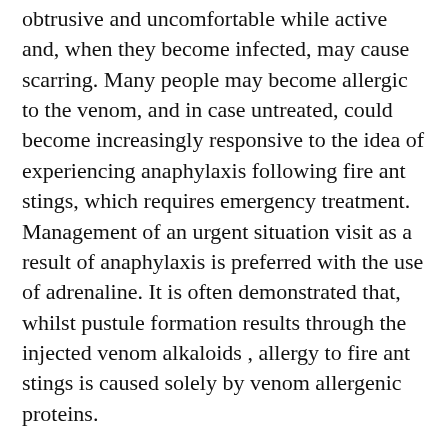obtrusive and uncomfortable while active and, when they become infected, may cause scarring. Many people may become allergic to the venom, and in case untreated, could become increasingly responsive to the idea of experiencing anaphylaxis following fire ant stings, which requires emergency treatment. Management of an urgent situation visit as a result of anaphylaxis is preferred with the use of adrenaline. It is often demonstrated that, whilst pustule formation results through the injected venom alkaloids , allergy to fire ant stings is caused solely by venom allergenic proteins.
First aid for fire ant stings includes external treatments and oral medicines. Additionally, there are many home cures of varying efficacy, including immediate application of an answer of half bleach and half water, or aloe vera gel – the latter of which can be also often incorporated into over the counter